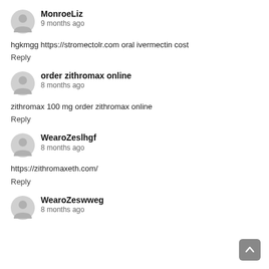MonroeLiz
9 months ago
hgkmgg https://stromectolr.com oral ivermectin cost
Reply
order zithromax online
8 months ago
zithromax 100 mg order zithromax online
Reply
WearoZeslhgf
8 months ago
https://zithromaxeth.com/
Reply
WearoZeswweg
8 months ago